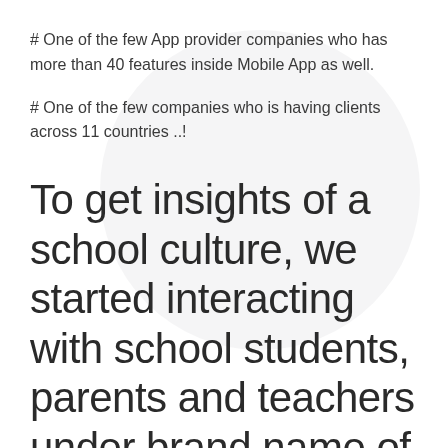# One of the few App provider companies who has more than 40 features inside Mobile App as well.
# One of the few companies who is having clients across 11 countries ..!
To get insights of a school culture, we started interacting with school students, parents and teachers under brand name of CareerKhoji. We did